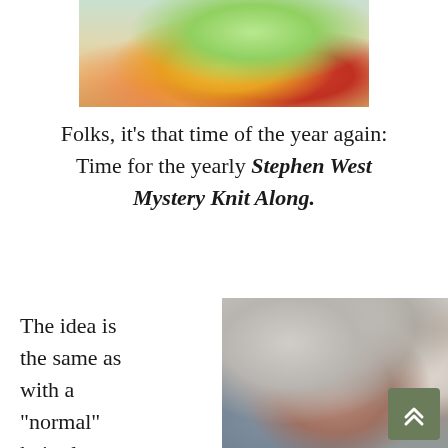[Figure (photo): Person wearing colorful yarn/knitting materials — bright green, yellow, red threads covering face and body]
Folks, it's that time of the year again: Time for the yearly Stephen West Mystery Knit Along.
The idea is the same as with a "normal" knit-along, as in: Lots
[Figure (photo): Rolls and spools of yarn in various neutral and earthy colors — gray, tan, cream, burgundy, blue — on a table]